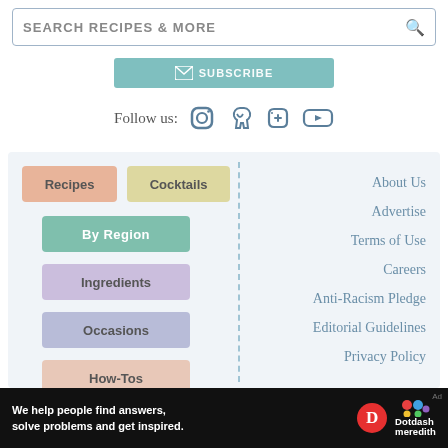SEARCH RECIPES & MORE
[Figure (screenshot): Subscribe button with envelope icon on teal background]
Follow us: [Instagram] [Pinterest] [Facebook] [YouTube]
Recipes
Cocktails
By Region
Ingredients
Occasions
How-Tos
About Us
Advertise
Terms of Use
Careers
Anti-Racism Pledge
Editorial Guidelines
Privacy Policy
We help people find answers, solve problems and get inspired.
[Figure (logo): Dotdash Meredith logo with D circle and colorful dots]